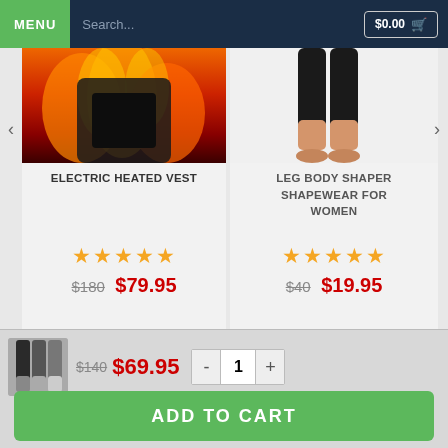MENU | Search... | $0.00 🛒
[Figure (screenshot): Electric heated vest product card with fire background image]
ELECTRIC HEATED VEST
★★★★★
$180  $79.95
[Figure (screenshot): Leg body shaper shapewear for women product card with legs image]
LEG BODY SHAPER SHAPEWEAR FOR WOMEN
★★★★★
$40  $19.95
[Figure (screenshot): Sticky bottom bar with product thumbnail, pricing, quantity selector and add to cart button]
$140  $69.95
- 1 +
ADD TO CART